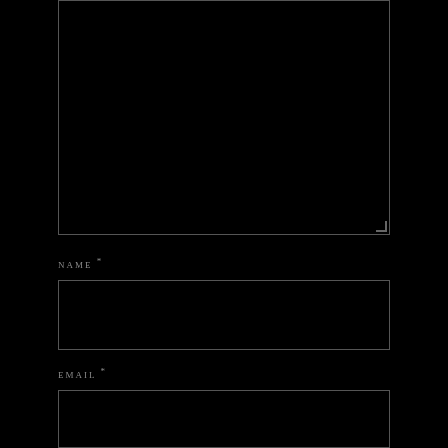[Figure (screenshot): Top portion of a web form showing a large text area (comment box) with a resize handle at bottom-right, on a black background]
NAME *
[Figure (screenshot): Name input field text box, black background with grey border]
EMAIL *
[Figure (screenshot): Email input field text box, black background with grey border]
WEBSITE
[Figure (screenshot): Website input field text box, black background with grey border]